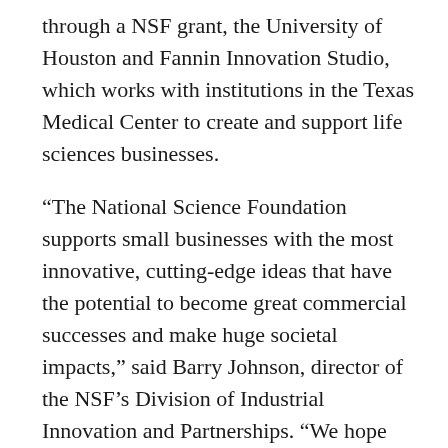through a NSF grant, the University of Houston and Fannin Innovation Studio, which works with institutions in the Texas Medical Center to create and support life sciences businesses.
“The National Science Foundation supports small businesses with the most innovative, cutting-edge ideas that have the potential to become great commercial successes and make huge societal impacts,” said Barry Johnson, director of the NSF’s Division of Industrial Innovation and Partnerships. “We hope that this seed funding will spark solutions to some of the most important challenges of our time across all areas of science and technology.”
The company’s technology was developed with a $1.5 million NSF Cyber-Physical Systems (CPS) award